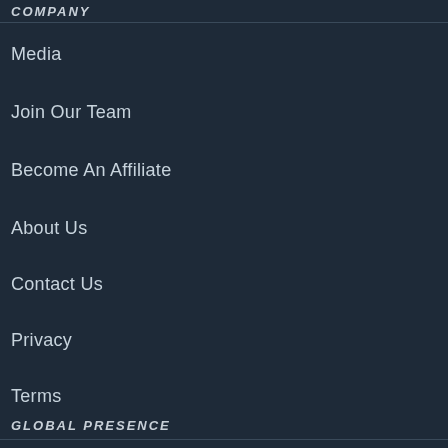COMPANY
Media
Join Our Team
Become An Affiliate
About Us
Contact Us
Privacy
Terms
GLOBAL PRESENCE